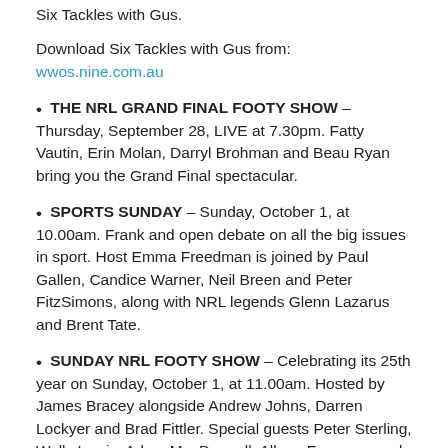Six Tackles with Gus.
Download Six Tackles with Gus from: wwos.nine.com.au
THE NRL GRAND FINAL FOOTY SHOW – Thursday, September 28, LIVE at 7.30pm. Fatty Vautin, Erin Molan, Darryl Brohman and Beau Ryan bring you the Grand Final spectacular.
SPORTS SUNDAY – Sunday, October 1, at 10.00am. Frank and open debate on all the big issues in sport. Host Emma Freedman is joined by Paul Gallen, Candice Warner, Neil Breen and Peter FitzSimons, along with NRL legends Glenn Lazarus and Brent Tate.
SUNDAY NRL FOOTY SHOW – Celebrating its 25th year on Sunday, October 1, at 11.00am. Hosted by James Bracey alongside Andrew Johns, Darren Lockyer and Brad Fittler. Special guests Peter Sterling, Wally Lewis, Adam MacDougall, Allana Ferguson and Sam Bremner.